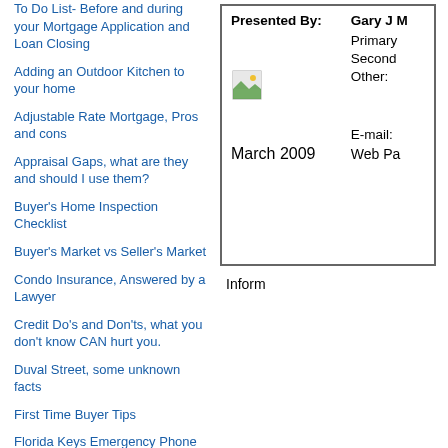To Do List- Before and during your Mortgage Application and Loan Closing
Adding an Outdoor Kitchen to your home
Adjustable Rate Mortgage, Pros and cons
Appraisal Gaps, what are they and should I use them?
Buyer's Home Inspection Checklist
Buyer's Market vs Seller's Market
Condo Insurance, Answered by a Lawyer
Credit Do's and Don'ts, what you don't know CAN hurt you.
Duval Street, some unknown facts
First Time Buyer Tips
Florida Keys Emergency Phone Numbers
I promise client satisfaction, let me put my experience to work for you.
Interest Rates make a huge difference in your monthly
|  |  |
| --- | --- |
| Presented By: | Gary J M |
|  | Primary |
|  | Second |
| [image] | Other: |
|  |  |
|  | E-mail: |
| March 2009 | Web Pa |
Inform